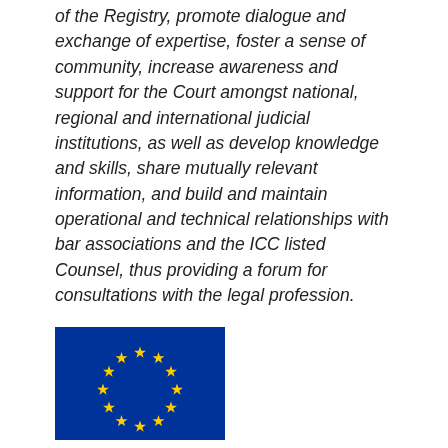of the Registry, promote dialogue and exchange of expertise, foster a sense of community, increase awareness and support for the Court amongst national, regional and international judicial institutions, as well as develop knowledge and skills, share mutually relevant information, and build and maintain operational and technical relationships with bar associations and the ICC listed Counsel, thus providing a forum for consultations with the legal profession.
[Figure (illustration): European Union flag — blue rectangle with a circle of 12 gold stars]
Press Release: 26 October 2018
ICC holds workshop with lawyers from Georgia and